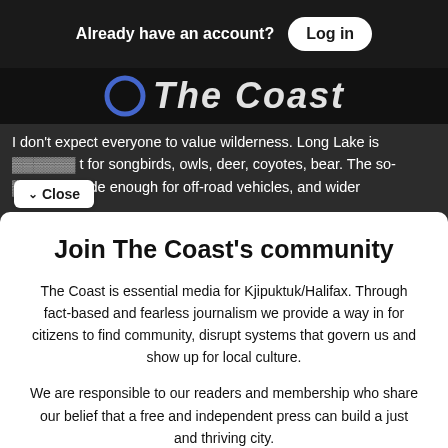Already have an account? Log in
[Figure (screenshot): Background showing The Coast newspaper logo and partially visible article text about Long Lake wilderness, songbirds, owls, deer, coyotes, bear, and off-road vehicle trails]
Close
Join The Coast's community
The Coast is essential media for Kjipuktuk/Halifax. Through fact-based and fearless journalism we provide a way in for citizens to find community, disrupt systems that govern us and show up for local culture.
We are responsible to our readers and membership who share our belief that a free and independent press can build a just and thriving city.